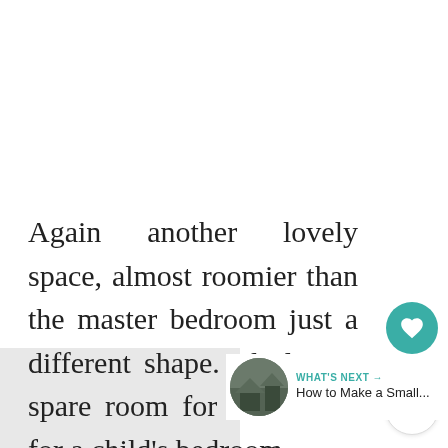Again another lovely space, almost roomier than the master bedroom just a different shape. Ideal as a spare room for visitors or for a child's bedroom.
[Figure (other): Heart (like) button in teal/green circle with count 219 below, and a share button below that]
[Figure (other): What's Next widget with circular thumbnail image and text 'How to Make a Small...']